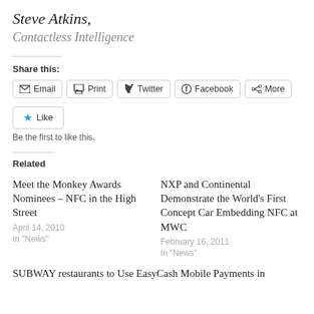Steve Atkins,
Contactless Intelligence
Share this:
Email  Print  Twitter  Facebook  More
Like
Be the first to like this.
Related
Meet the Monkey Awards Nominees – NFC in the High Street
April 14, 2010
In "News"
NXP and Continental Demonstrate the World's First Concept Car Embedding NFC at MWC
February 16, 2011
In "News"
SUBWAY restaurants to Use EasyCash Mobile Payments in